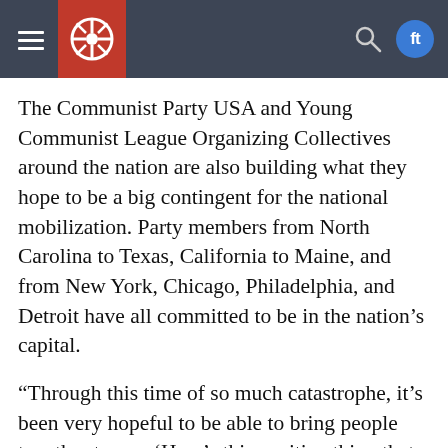Communist Party USA news website header with hamburger menu, logo, search icon, and social icons
The Communist Party USA and Young Communist League Organizing Collectives around the nation are also building what they hope to be a big contingent for the national mobilization. Party members from North Carolina to Texas, California to Maine, and from New York, Chicago, Philadelphia, and Detroit have all committed to be in the nation’s capital.
“Through this time of so much catastrophe, it’s been very hopeful to be able to bring people together to say, ‘Here’s this positive thing that we can do,’” Ohio CPUSA activist Molly Nagin says. “Whether around racism or housing, low-wage workers, healthcare, or the shootings and the way they want to arm teachers, what the Republicans and extreme right are doing right